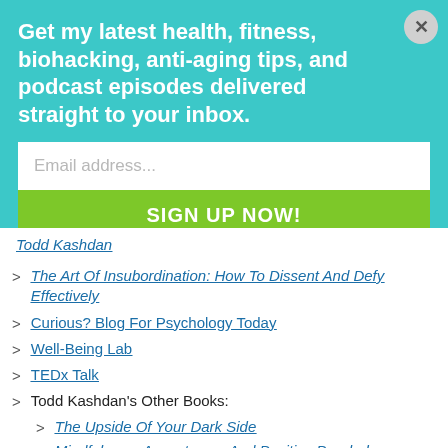Get my latest health, fitness, biohacking, anti-aging tips, and podcast episodes delivered straight to your inbox.
Email address...
SIGN UP NOW!
Todd Kashdan
The Art Of Insubordination: How To Dissent And Defy Effectively
Curious? Blog For Psychology Today
Well-Being Lab
TEDx Talk
Todd Kashdan's Other Books:
The Upside Of Your Dark Side
Mindfulness, Acceptance, And Positive Psychology
Curious?